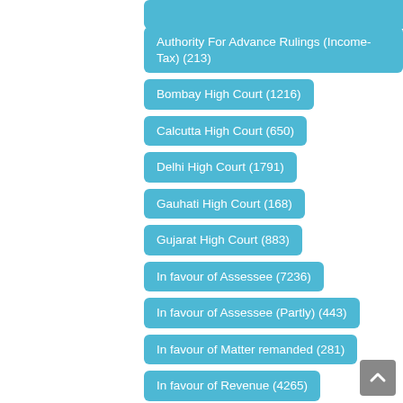Authority For Advance Rulings (Income-Tax) (213)
Bombay High Court (1216)
Calcutta High Court (650)
Delhi High Court (1791)
Gauhati High Court (168)
Gujarat High Court (883)
In favour of Assessee (7236)
In favour of Assessee (Partly) (443)
In favour of Matter remanded (281)
In favour of Revenue (4265)
In favour of Revenue (Partly) (390)
Karnataka High Court (629)
Kerala High Court (852)